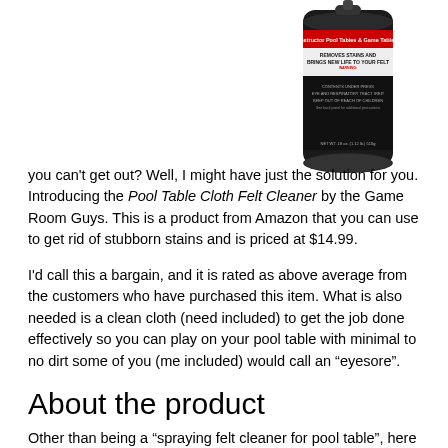[Figure (photo): Product image of Pool Table Cloth Felt Cleaner spray can by Game Room Guys, black can with red and white label]
you can't get out? Well, I might have just the solution for you. Introducing the Pool Table Cloth Felt Cleaner by the Game Room Guys. This is a product from Amazon that you can use to get rid of stubborn stains and is priced at $14.99.
I'd call this a bargain, and it is rated as above average from the customers who have purchased this item. What is also needed is a clean cloth (need included) to get the job done effectively so you can play on your pool table with minimal to no dirt some of you (me included) would call an “eyesore”.
About the product
Other than being a “spraying felt cleaner for pool table”, here are the specifics about this product...